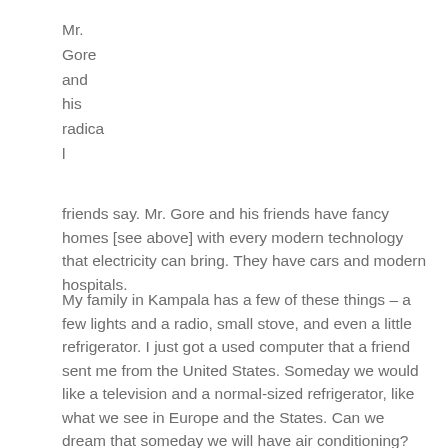Mr.
Gore
and
his
radica
l
friends say. Mr. Gore and his friends have fancy homes [see above] with every modern technology that electricity can bring. They have cars and modern hospitals.
My family in Kampala has a few of these things – a few lights and a radio, small stove, and even a little refrigerator. I just got a used computer that a friend sent me from the United States. Someday we would like a television and a normal-sized refrigerator, like what we see in Europe and the States. Can we dream that someday we will have air conditioning?